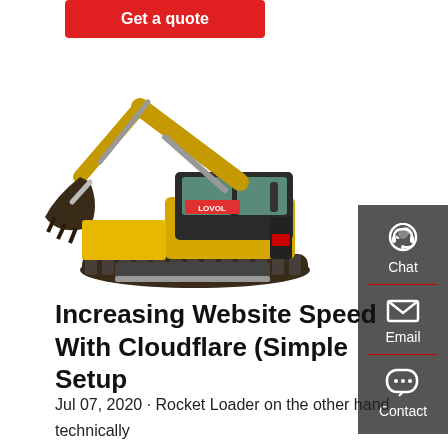[Figure (other): Red 'Get a quote' button at top of page]
[Figure (photo): Yellow LOVOL mini excavator with articulated arm, bucket, and rubber tracks on white background]
[Figure (infographic): Dark grey side panel with Chat (headset icon), Email (envelope icon), and Contact (speech bubble icon) options, each separated by a red divider line]
Increasing Website Speed With Cloudflare (Simple Setup
Jul 07, 2020 · Rocket Loader on the other hand technically sounds good, but I find that it tends to cause problems,